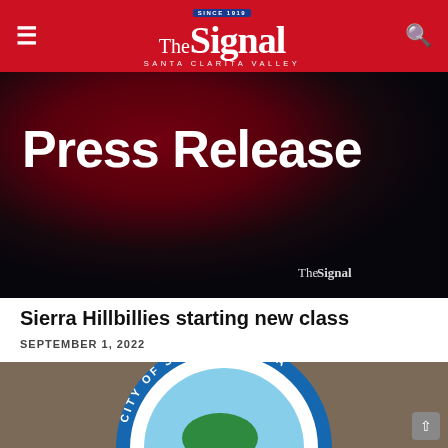The Signal — Santa Clarita Valley
[Figure (photo): Press Release banner image with dark red-to-black gradient background, large white bold text 'Press Release' in top-left, and 'The Signal' logo watermark in bottom-right corner]
Sierra Hillbillies starting new class
SEPTEMBER 1, 2022
[Figure (photo): Partial view of the City of Santa Clarita official seal/logo, showing blue circular seal with green map icon and text 'CITY OF SANTA CLARITA' partially visible, on a brick building background]